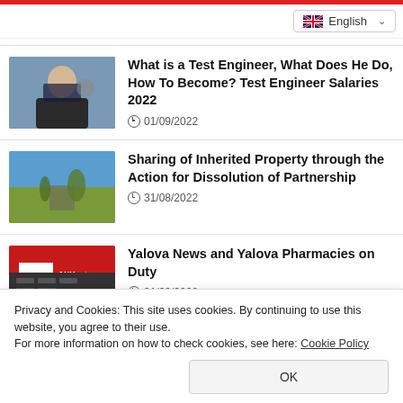English
What is a Test Engineer, What Does He Do, How To Become? Test Engineer Salaries 2022
01/09/2022
Sharing of Inherited Property through the Action for Dissolution of Partnership
31/08/2022
Yalova News and Yalova Pharmacies on Duty
31/08/2022
Privacy and Cookies: This site uses cookies. By continuing to use this website, you agree to their use.
For more information on how to check cookies, see here: Cookie Policy
OK
Made?